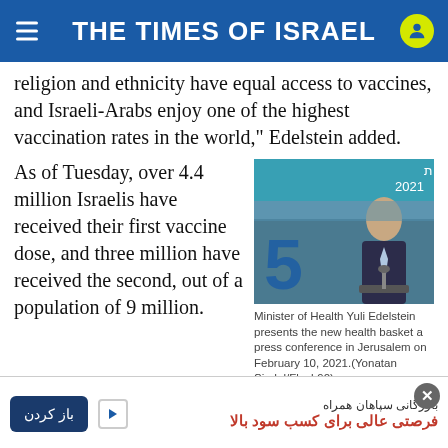THE TIMES OF ISRAEL
religion and ethnicity have equal access to vaccines, and Israeli-Arabs enjoy one of the highest vaccination rates in the world," Edelstein added.
As of Tuesday, over 4.4 million Israelis have received their first vaccine dose, and three million have received the second, out of a population of 9 million.
[Figure (photo): Minister of Health Yuli Edelstein at a podium in front of a banner reading 'סל הבריאות 2021' (health basket 2021)]
Minister of Health Yuli Edelstein presents the new health basket a press conference in Jerusalem on February 10, 2021.(Yonatan Sindel/Flash90)
Get The Times of Israel Daily Edition
بازرگانی سپاهان همراه
فرصتی عالی برای کسب سود بالا